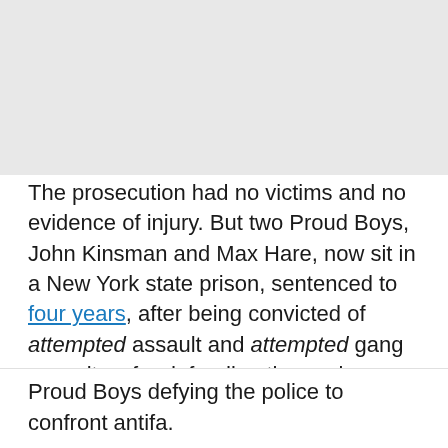[Figure (other): Gray placeholder block at top of page]
The prosecution had no victims and no evidence of injury. But two Proud Boys, John Kinsman and Max Hare, now sit in a New York state prison, sentenced to four years, after being convicted of attempted assault and attempted gang assault — for defending themselves from antifa, who showed up at conservative event, then disobeyed the police and stalked the Proud Boys. It wasn't the Proud
Proud Boys defying the police to confront antifa.